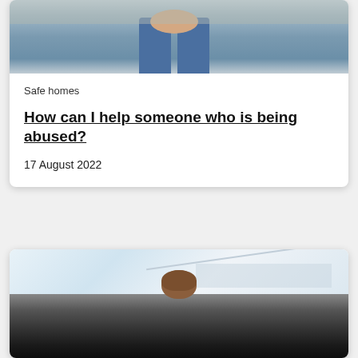[Figure (photo): Top portion of a card showing a person sitting with legs visible, wearing jeans, against a wall - cropped at top of page]
Safe homes
How can I help someone who is being abused?
17 August 2022
[Figure (photo): Second card partially visible at bottom of page, showing a person with brown hair peeking up, with light ceiling/wall background above and dark gradient overlay below]